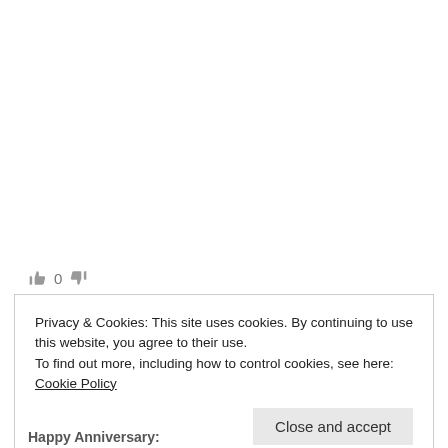[Figure (other): Vote thumbs up icon, count 0, thumbs down icon in gray]
Privacy & Cookies: This site uses cookies. By continuing to use this website, you agree to their use.
To find out more, including how to control cookies, see here: Cookie Policy
Close and accept
Happy Anniversary: